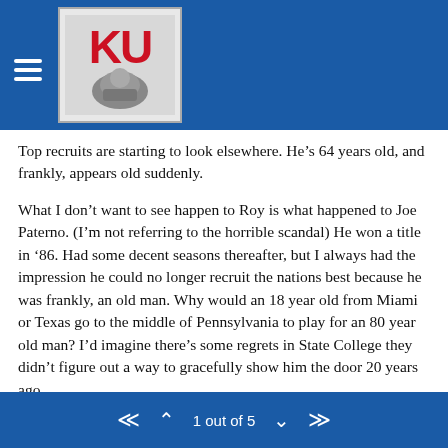[Figure (logo): KU (University of Kansas) logo with red KU letters and mascot image on gray background, in blue header bar with hamburger menu icon]
Top recruits are starting to look elsewhere. He’s 64 years old, and frankly, appears old suddenly.
What I don’t want to see happen to Roy is what happened to Joe Paterno. (I’m not referring to the horrible scandal) He won a title in ’86. Had some decent seasons thereafter, but I always had the impression he could no longer recruit the nations best because he was frankly, an old man. Why would an 18 year old from Miami or Texas go to the middle of Pennsylvania to play for an 80 year old man? I’d imagine there’s some regrets in State College they didn’t figure out a way to gracefully show him the door 20 years ago.
I don’t follow UNC closely enough to know if they’ll be knocking on the door again in short time. One new poll for next year I saw had them in the top 10. But their downward trend
1 out of 5